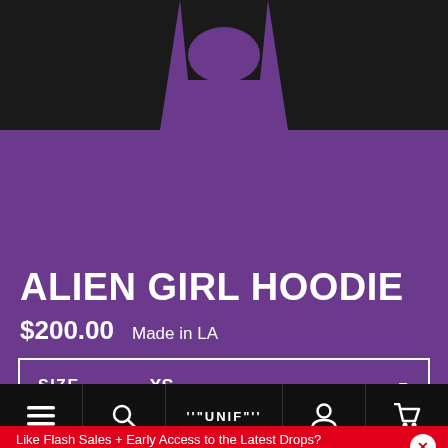[Figure (photo): Photo of a purple and black Alien Girl Hoodie garment, showing the neckline and sleeves against a purple background]
ALIEN GIRL HOODIE
$200.00   Made in LA
SIZE   XS
Like Flash Sales + Early Access to the Latest Drops?
→ Download our app now!
≡   🔍   ""UNIF""   👤   🛒